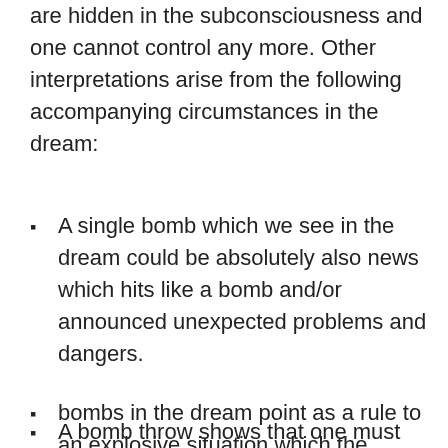are hidden in the subconsciousness and one cannot control any more. Other interpretations arise from the following accompanying circumstances in the dream:
A single bomb which we see in the dream could be absolutely also news which hits like a bomb and/or announced unexpected problems and dangers.
bombs in the dream point as a rule to an explosive situation which the dreaming must finish.
A bomb throw shows that one must